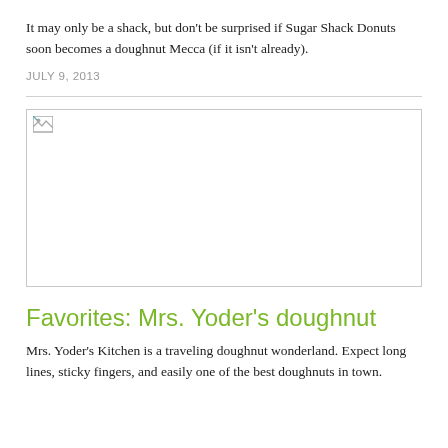It may only be a shack, but don’t be surprised if Sugar Shack Donuts soon becomes a doughnut Mecca (if it isn’t already).
JULY 9, 2013
[Figure (photo): Broken image placeholder — a failed image load indicated by a small broken image icon in the top-left corner of a rectangular bordered box]
Favorites: Mrs. Yoder’s doughnut
Mrs. Yoder’s Kitchen is a traveling doughnut wonderland. Expect long lines, sticky fingers, and easily one of the best doughnuts in town.